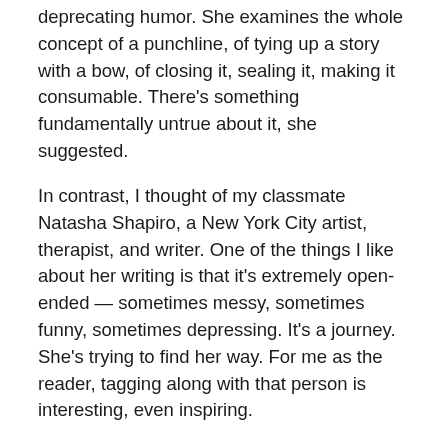deprecating humor. She examines the whole concept of a punchline, of tying up a story with a bow, of closing it, sealing it, making it consumable. There's something fundamentally untrue about it, she suggested.
In contrast, I thought of my classmate Natasha Shapiro, a New York City artist, therapist, and writer. One of the things I like about her writing is that it's extremely open-ended — sometimes messy, sometimes funny, sometimes depressing. It's a journey. She's trying to find her way. For me as the reader, tagging along with that person is interesting, even inspiring.
In my own writing, I very much see the habit of wrapping up stories with a bow, trying to make them consumable. For material, I gravitate toward the past, whether my in-laws' experience of the Armenian Genocide, or my